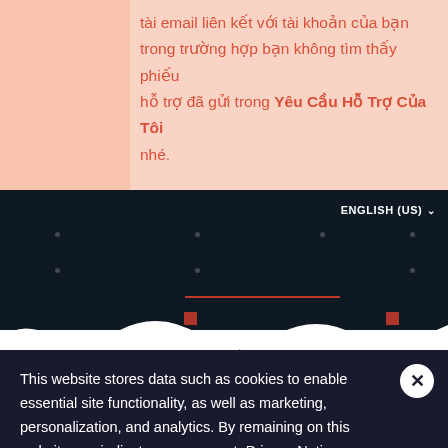tài email liên kết với tài khoản của bạn trong trường hợp bạn không tìm thấy phiếu hỗ trợ đã gửi trong Yêu Cầu Hỗ Trợ Của Tôi nhé.
[Figure (screenshot): Dark navigation header for VALORANT support website with ENGLISH (US) language selector and decorative red elements]
VALORANT Support > VALORANT Basics & FAQs > Account Information
This website stores data such as cookies to enable essential site functionality, as well as marketing, personalization, and analytics. By remaining on this website you indicate your consent. Privacy Notice
Multi-Factor